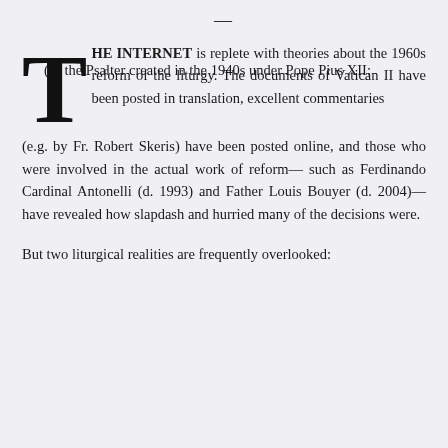—
THE INTERNET is replete with theories about the 1960s reform of the liturgy. The documents of Vatican II have been posted in translation, excellent commentaries (e.g. by Fr. Robert Skeris) have been posted online, and those who were involved in the actual work of reform—such as Ferdinando Cardinal Antonelli (d. 1993) and Father Louis Bouyer (d. 2004)—have revealed how slapdash and hurried many of the decisions were.
But two liturgical realities are frequently overlooked:
(1)  the Psalter created in the 1940s under Pope Pius XII;